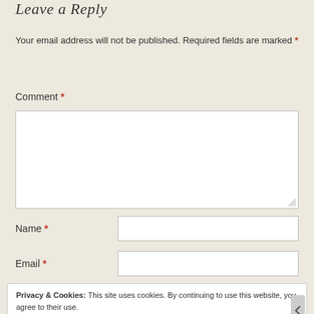Leave a Reply
Your email address will not be published. Required fields are marked *
Comment *
[Figure (other): Comment text area input box with resize handle]
Name *
[Figure (other): Name text input field]
Email *
[Figure (other): Email text input field]
Privacy & Cookies: This site uses cookies. By continuing to use this website, you agree to their use.
To find out more, including how to control cookies, see here: Cookie Policy